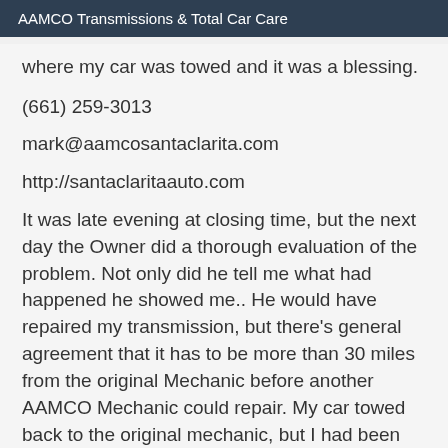AAMCO Transmissions & Total Car Care
where my car was towed and it was a blessing.
(661) 259-3013
mark@aamcosantaclarita.com
http://santaclaritaauto.com
It was late evening at closing time, but the next day the Owner did a thorough evaluation of the problem. Not only did he tell me what had happened he showed me.. He would have repaired my transmission, but there's general agreement that it has to be more than 30 miles from the original Mechanic before another AAMCO Mechanic could repair. My car towed back to the original mechanic, but I had been given confident and information of the repairs needed to be done. I would trust my car being repaired at AAMCO